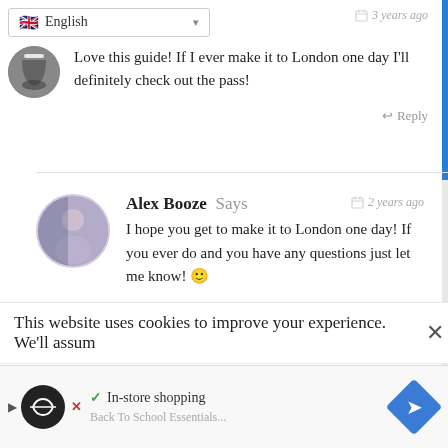Love this guide! If I ever make it to London one day I'll definitely check out the pass!
Alex Booze Says — 2 years ago — I hope you get to make it to London one day! If you ever do and you have any questions just let me know! 😊
Imari Says — 1 years ago
This website uses cookies to improve your experience. We'll assum
✓ In-store shopping